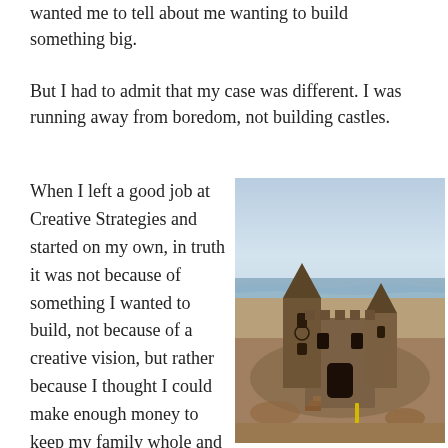wanted me to tell about me wanting to build something big.
But I had to admit that my case was different. I was running away from boredom, not building castles.
When I left a good job at Creative Strategies and started on my own, in truth it was not because of something I wanted to build, not because of a creative vision, but rather because I thought I could make enough money to keep my family whole and do what I wanted.
[Figure (photo): A detailed sandcastle with two tall towers on a beach, with ocean waves visible in the background under a hazy sky.]